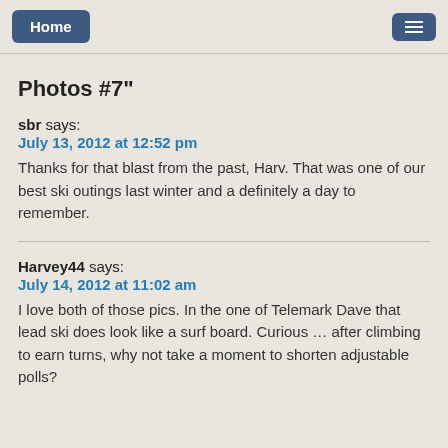Home | [menu icon]
Photos #7"
sbr says:
July 13, 2012 at 12:52 pm
Thanks for that blast from the past, Harv. That was one of our best ski outings last winter and a definitely a day to remember.
Harvey44 says:
July 14, 2012 at 11:02 am
I love both of those pics. In the one of Telemark Dave that lead ski does look like a surf board. Curious … after climbing to earn turns, why not take a moment to shorten adjustable polls?